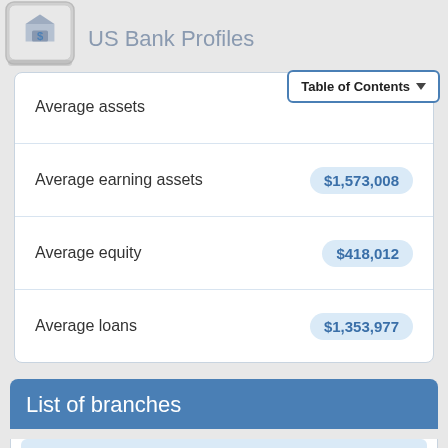US Bank Profiles
|  |  |
| --- | --- |
| Average assets |  |
| Average earning assets | $1,573,008 |
| Average equity | $418,012 |
| Average loans | $1,353,977 |
List of branches
16 California Branches as of April 05, 2012
| No | ID | Name |
| --- | --- | --- |